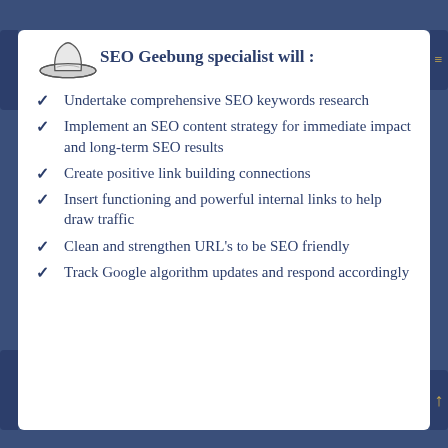SEO Geebung specialist will :
Undertake comprehensive SEO keywords research
Implement an SEO content strategy for immediate impact and long-term SEO results
Create positive link building connections
Insert functioning and powerful internal links to help draw traffic
Clean and strengthen URL's to be SEO friendly
Track Google algorithm updates and respond accordingly